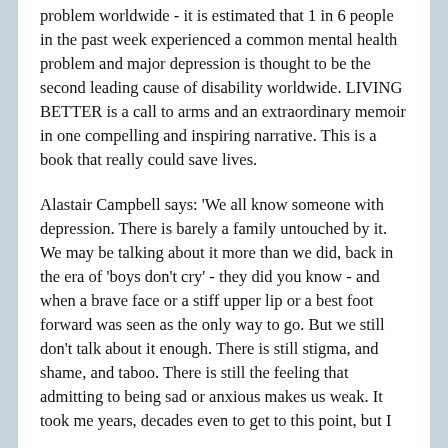problem worldwide - it is estimated that 1 in 6 people in the past week experienced a common mental health problem and major depression is thought to be the second leading cause of disability worldwide. LIVING BETTER is a call to arms and an extraordinary memoir in one compelling and inspiring narrative. This is a book that really could save lives.
Alastair Campbell says: 'We all know someone with depression. There is barely a family untouched by it. We may be talking about it more than we did, back in the era of 'boys don't cry' - they did you know - and when a brave face or a stiff upper lip or a best foot forward was seen as the only way to go. But we still don't talk about it enough. There is still stigma, and shame, and taboo. There is still the feeling that admitting to being sad or anxious makes us weak. It took me years, decades even to get to this point, but I